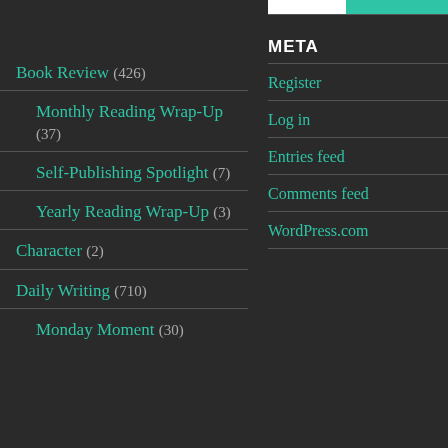Book Review (426)
Monthly Reading Wrap-Up (37)
Self-Publishing Spotlight (7)
Yearly Reading Wrap-Up (3)
Character (2)
Daily Writing (710)
Monday Moment (30)
META
Register
Log in
Entries feed
Comments feed
WordPress.com